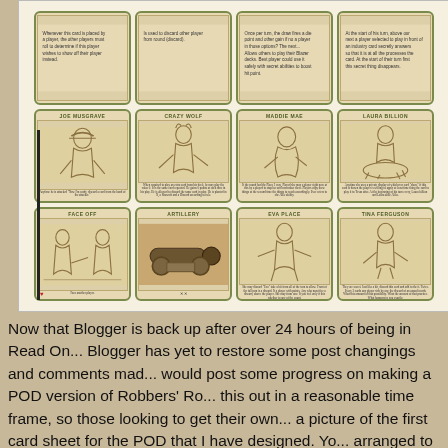[Figure (illustration): A grid of Western-themed playing cards/game cards arranged in 3 rows of 4. Row 1 shows cards with text/rules. Row 2 shows character cards: JOE MUSGRAVE, CRAZY WOLF, MADDIE MAE, LAURA BILLION. Row 3 shows: FACE OFF (action card), ARTILLERY (equipment card), EVA PLACE (character), TINA FERGUSON (character). Cards have sepia/tan background with green borders and hand-drawn western illustrations.]
Now that Blogger is back up after over 24 hours of being in Read On... Blogger has yet to restore some post changings and comments mad... would post some progress on making a POD version of Robbers' Ro... this out in a reasonable time frame, so those looking to get their ow... a picture of the first card sheet for the POD that I have designed. Yo... arranged to the bottom right, in preparation for the cards being trimm... prototype that I can get mailed to me without getting trimmed, so th...